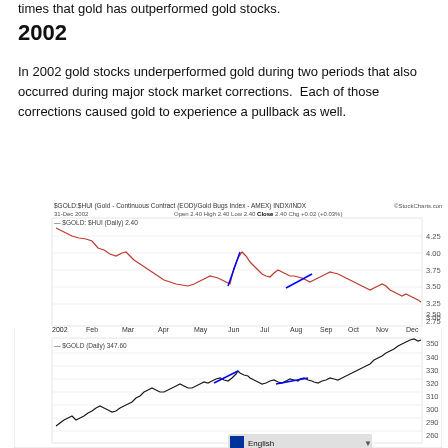times that gold has outperformed gold stocks.
2002
In 2002 gold stocks underperformed gold during two periods that also occurred during major stock market corrections.  Each of those corrections caused gold to experience a pullback as well.
[Figure (continuous-plot): Two-panel stock chart from StockCharts.com dated 31-Dec 2002. Top panel shows $GOLD:$HUI ratio (Gold Continuous Contract / Gold Bugs Index AMEX) daily line chart from Jan 2002 to Dec 2002, with values ranging approximately 2.25 to 4.25. Two blue diagonal line annotations are drawn on the chart highlighting periods. Bottom panel shows $GOLD (Daily) 347.60 line chart over the same period with values ranging approximately 260 to 350, also with two blue line annotations.]